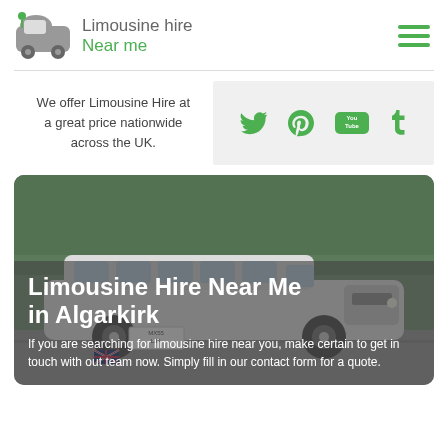[Figure (logo): Limousine hire Near me logo with car icon and green/grey text]
We offer Limousine Hire at a great price nationwide across the UK.
[Figure (infographic): Social media icons: Twitter, Pinterest, YouTube, Tumblr in green]
[Figure (photo): A white stretch limousine parked outdoors with trees in background]
Limousine Hire Near Me in Algarkirk
If you are searching for limousine hire near you, make certain to get in touch with out team now. Simply fill in our contact form for a quote.